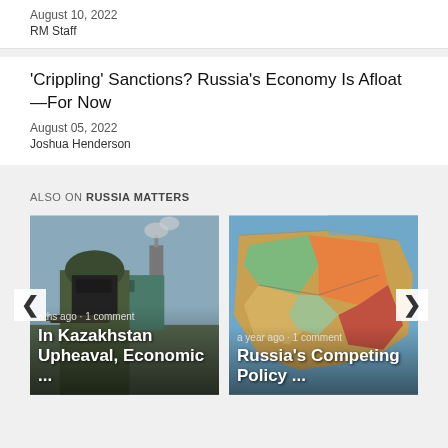August 10, 2022
RM Staff
'Crippling' Sanctions? Russia's Economy Is Afloat—For Now
August 05, 2022
Joshua Henderson
ALSO ON RUSSIA MATTERS
[Figure (photo): Soldier in combat gear with helmet and balaclava, industrial background]
months ago · 1 comment
In Kazakhstan Upheaval, Economic ...
[Figure (map): Colorful political/territorial map of Syria region]
a year ago · 1 comment
Russia's Competing Policy ...